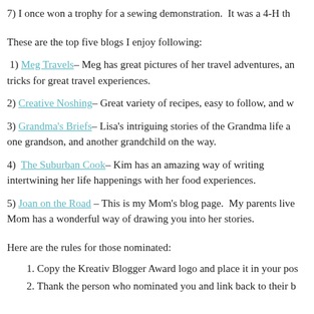7) I once won a trophy for a sewing demonstration.  It was a 4-H th
These are the top five blogs I enjoy following:
1) Meg Travels– Meg has great pictures of her travel adventures, and tricks for great travel experiences.
2) Creative Noshing– Great variety of recipes, easy to follow, and w
3) Grandma's Briefs– Lisa's intriguing stories of the Grandma life and one grandson, and another grandchild on the way.
4) The Suburban Cook– Kim has an amazing way of writing intertwining her life happenings with her food experiences.
5) Joan on the Road – This is my Mom's blog page.  My parents live and Mom has a wonderful way of drawing you into her stories.
Here are the rules for those nominated:
1. Copy the Kreativ Blogger Award logo and place it in your pos
2. Thank the person who nominated you and link back to their b